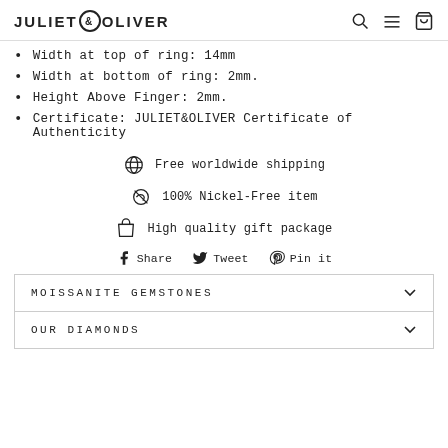JULIET & OLIVER
Width at top of ring: 14mm
Width at bottom of ring: 2mm.
Height Above Finger: 2mm.
Certificate: JULIET&OLIVER Certificate of Authenticity
[Figure (infographic): Three rows of icons with text: globe icon - Free worldwide shipping; leaf icon - 100% Nickel-Free item; box icon - High quality gift package]
[Figure (infographic): Social share buttons: Share (Facebook), Tweet (Twitter), Pin it (Pinterest)]
MOISSANITE GEMSTONES
OUR DIAMONDS